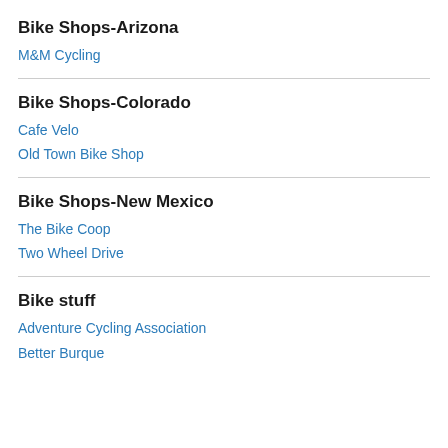Bike Shops-Arizona
M&M Cycling
Bike Shops-Colorado
Cafe Velo
Old Town Bike Shop
Bike Shops-New Mexico
The Bike Coop
Two Wheel Drive
Bike stuff
Adventure Cycling Association
Better Burque